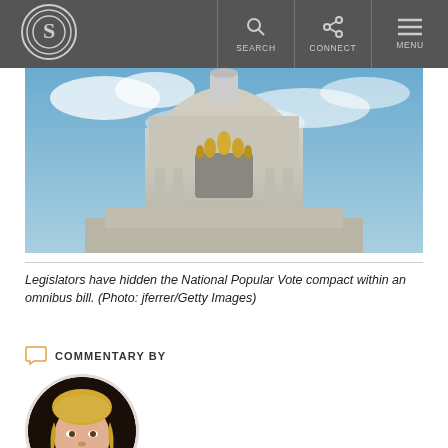S [logo] | SEARCH | CONNECT | MENU
[Figure (photo): Photograph of the Minnesota State Capitol dome with gold statues against a blue sky with clouds]
Legislators have hidden the National Popular Vote compact within an omnibus bill. (Photo: jferrer/Getty Images)
COMMENTARY BY
[Figure (photo): Circular headshot portrait of a blonde woman smiling]